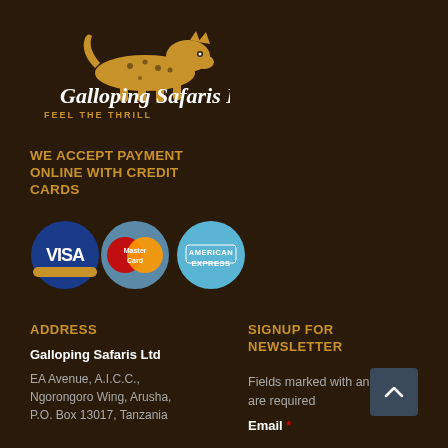[Figure (logo): Galloping Safaris Ltd logo with cheetah silhouette and tagline FEEL THE THRILL]
WE ACCEPT PAYMENT ONLINE WITH CREDIT CARDS
[Figure (illustration): Three payment card logos: Visa, MasterCard, American Express]
ADDRESS
Galloping Safaris Ltd
EA Avenue, A.I.C.C., Ngorongoro Wing, Arusha, P.O. Box 13017, Tanzania
SIGNUP FOR NEWSLETTER
Fields marked with an * are required
Email *